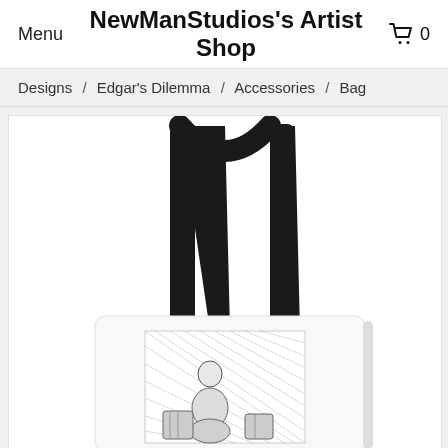Menu  NewManStudios's Artist Shop  0
Designs / Edgar's Dilemma / Accessories / Bag
[Figure (photo): Product photo of a white tote bag with black straps featuring an artwork print called Edgar's Dilemma — a pencil/charcoal sketch of a seated figure with objects around them.]